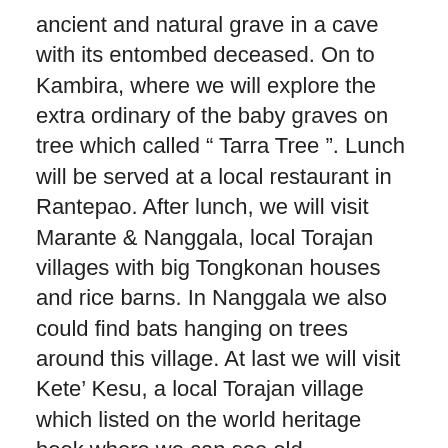ancient and natural grave in a cave with its entombed deceased. On to Kambira, where we will explore the extra ordinary of the baby graves on tree which called " Tarra Tree ". Lunch will be served at a local restaurant in Rantepao. After lunch, we will visit Marante & Nanggala, local Torajan villages with big Tongkonan houses and rice barns. In Nanggala we also could find bats hanging on trees around this village. At last we will visit Kete' Kesu, a local Torajan village which listed on the world heritage book where we can see old Tongkonan houses with their rice barns. Then we back to the Hotel for dinner and overnight stay.
Day 03. FULL DAY TANA TORAJA TOUR (B,L,D)
After breakfast, we will take you on another full day tour around Tana Toraja. In the morning, we will visit Bori' where we can find ancient megalith stones which already exist since thousands years. Then we